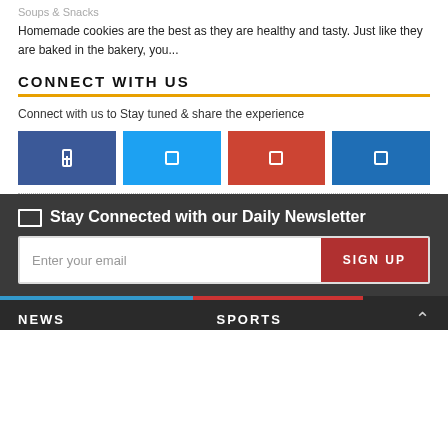Soups & Snacks
Homemade cookies are the best as they are healthy and tasty. Just like they are baked in the bakery, you...
CONNECT WITH US
Connect with us to Stay tuned & share the experience
[Figure (infographic): Four social media icon buttons: Facebook (dark blue), Twitter (light blue), YouTube/Google+ (red-orange), LinkedIn (blue)]
Stay Connected with our Daily Newsletter
Enter your email
SIGN UP
NEWS    SPORTS